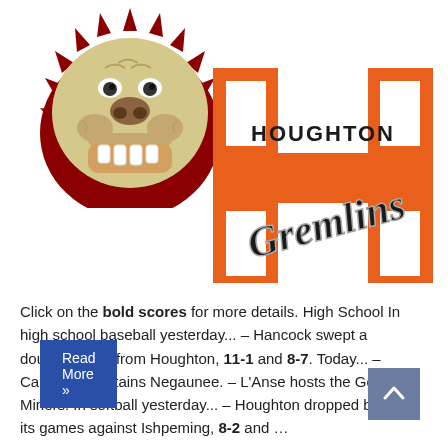[Figure (logo): Bulldog mascot logo - cream colored bulldog head with dark red spiked collar, mouth open showing teeth, facing right]
[Figure (logo): Houghton Gremlins logo - large orange H letter with HOUGHTON text above and GREMLINS in black script font overlaid]
Click on the bold scores for more details. High School In high school baseball yesterday... – Hancock swept a doubleheader from Houghton, 11-1 and 8-7. Today... – Calumet entertains Negaunee. – L'Anse hosts the Gogebic Miners. In softball yesterday... – Houghton dropped both of its games against Ishpeming, 8-2 and ...
Read More »
^